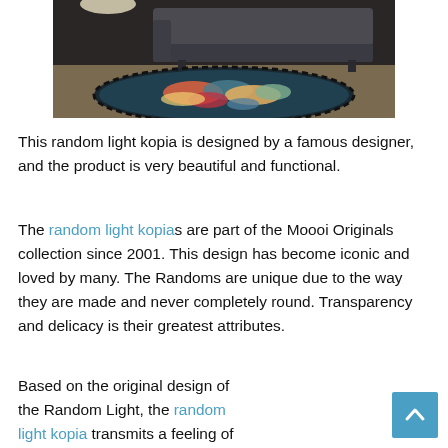[Figure (photo): A colorful round rug with abstract floral pattern displayed on a floor with a dark sofa in the background, photographed in a dark room setting.]
This random light kopia is designed by a famous designer, and the product is very beautiful and functional.
The random light kopias are part of the Moooi Originals collection since 2001. This design has become iconic and loved by many. The Randoms are unique due to the way they are made and never completely round. Transparency and delicacy is their greatest attributes.
Based on the original design of the Random Light, the random light kopia transmits a feeling of simplicity, softness, and a touch of magic in a contemporary style. It is formed from